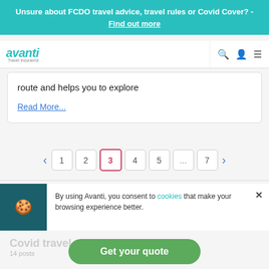Unsure about FCDO travel advice, travel rules or Covid Cover? - Find out more
[Figure (logo): Avanti Travel Insurance logo with teal italic text and smile graphic]
route and helps you to explore
Read More...
1 2 3 4 5 ... 7 pagination
By using Avanti, you consent to cookies that make your browsing experience better.
Covid travel news
14 posts
Get your quote